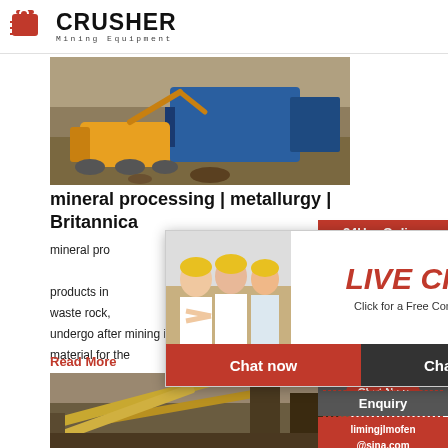CRUSHER Mining Equipment
[Figure (photo): Mining excavator and crusher equipment working at a quarry site]
mineral processing | metallurgy | Britannica
mineral processing products in waste rock, undergo after mining in order to provide a more material for the
Read More
[Figure (photo): Industrial mining conveyor belt and processing plant]
[Figure (photo): Live chat popup with workers in hard hats and a customer service agent]
LIVE CHAT
Click for a Free Consultation
Chat now   Chat later
24Hrs Online
Need questions & suggestion?
Chat Now
Enquiry
limingjlmofen@sina.com